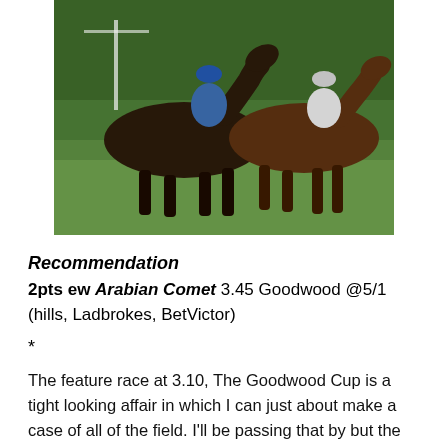[Figure (photo): Horse racing photo showing horses and jockeys mid-race on a grass track, two horses close together with jockeys in blue and white silks]
Recommendation
2pts ew Arabian Comet 3.45 Goodwood @5/1 (hills, Ladbrokes, BetVictor)
*
The feature race at 3.10, The Goodwood Cup is a tight looking affair in which I can just about make a case of all of the field. I'll be passing that by but the opener at 2.05 does have some possibilities.
In its former guise as the Extel Handicap in the 70s and 80s this used to be a breeding ground for future Group race